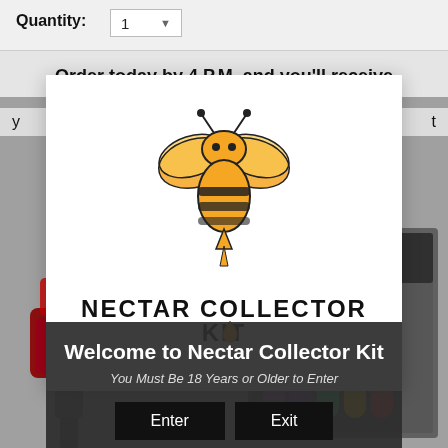Quantity: 1
Order today by 4 P.M. and you'll receive
[Figure (logo): Nectar Collector Kit logo with a stylized bee above the text 'NECTAR COLLECTOR KIT' and a honey drop below the 'O' in COLLECTOR]
Welcome to Nectar Collector Kit
You Must Be 18 Years or Older to Enter
Enter
Exit